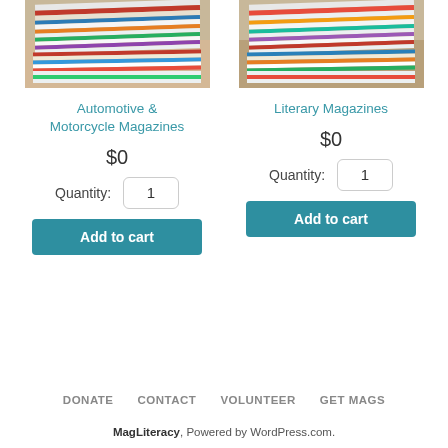[Figure (photo): Stack of colorful magazines photographed from the side, left product]
Automotive & Motorcycle Magazines
$0
Quantity: 1
Add to cart
[Figure (photo): Stack of colorful magazines photographed from the side, right product]
Literary Magazines
$0
Quantity: 1
Add to cart
DONATE   CONTACT   VOLUNTEER   GET MAGS
MagLiteracy, Powered by WordPress.com.